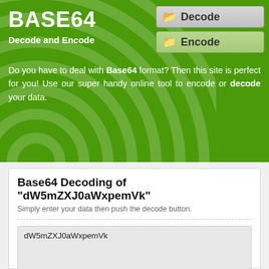BASE64
Decode and Encode
Decode
Encode
Do you have to deal with Base64 format? Then this site is perfect for you! Use our super handy online tool to encode or decode your data.
Base64 Decoding of "dW5mZXJ0aWxpemVk"
Simply enter your data then push the decode button.
dW5mZXJ0aWxpemVk